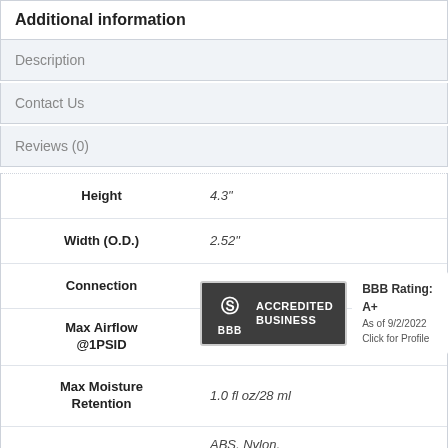Additional information
Description
Contact Us
Reviews (0)
| Property | Value |
| --- | --- |
| Height | 4.3" |
| Width (O.D.) | 2.52" |
| Connection | 3/8" Sure-Fit (NPT) |
| Max Airflow @1PSID | 7 CFM |
| Max Moisture Retention | 1.0 fl oz/28 ml |
| Body | ABS, Nylon, Polypropylene, Po... |
[Figure (logo): BBB Accredited Business badge with BBB Rating: A+ as of 9/2/2022, Click for Profile]